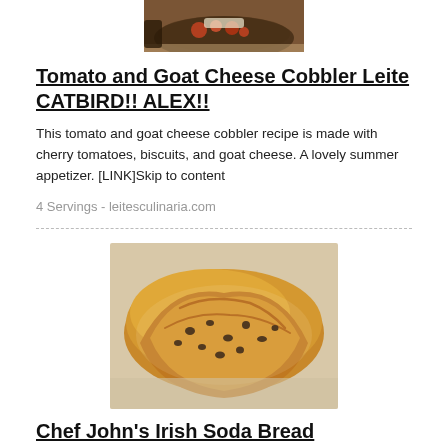[Figure (photo): Top partial image of a dish (tomato and goat cheese cobbler) in a dark pan, cropped at top of page]
Tomato and Goat Cheese Cobbler Leite CATBIRD!! ALEX!!
This tomato and goat cheese cobbler recipe is made with cherry tomatoes, biscuits, and goat cheese. A lovely summer appetizer. [LINK]Skip to content
4 Servings - leitesculinaria.com
[Figure (photo): Photo of a loaf of Irish soda bread, sliced diagonally, showing golden brown crust with dark raisins/currants inside, on a light surface]
Chef John's Irish Soda Bread